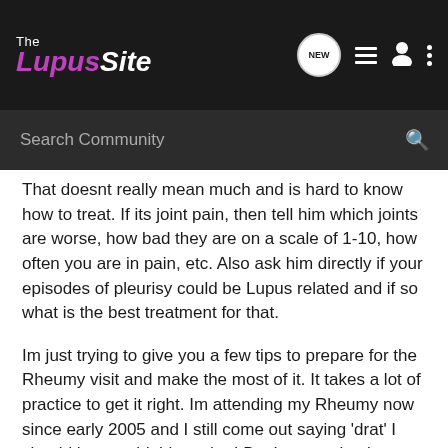The Lupus Site — Search Community
That doesnt really mean much and is hard to know how to treat. If its joint pain, then tell him which joints are worse, how bad they are on a scale of 1-10, how often you are in pain, etc. Also ask him directly if your episodes of pleurisy could be Lupus related and if so what is the best treatment for that.
Im just trying to give you a few tips to prepare for the Rheumy visit and make the most of it. It takes a lot of practice to get it right. Im attending my Rheumy now since early 2005 and I still come out saying 'drat' I should have said this or that! But I am getting better at it 😉
Dont forget to tell him about your on call doctor prescribing you doxycycline and the effect it had on you. Ask him if there is anything else you should know about your condition to help you